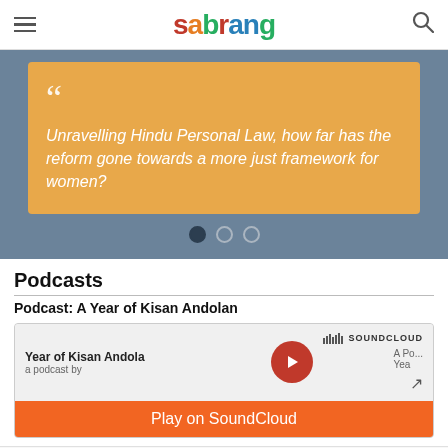[Figure (logo): Sabrang logo with colorful letters]
[Figure (screenshot): Slider with orange quote box: Unravelling Hindu Personal Law, how far has the reform gone towards a more just framework for women? with navigation dots]
Podcasts
Podcast: A Year of Kisan Andolan
[Figure (screenshot): SoundCloud embedded player for Year of Kisan Andola podcast with Play on SoundCloud button]
[Figure (other): Footer social media icons: Facebook, Twitter, Email, WhatsApp]